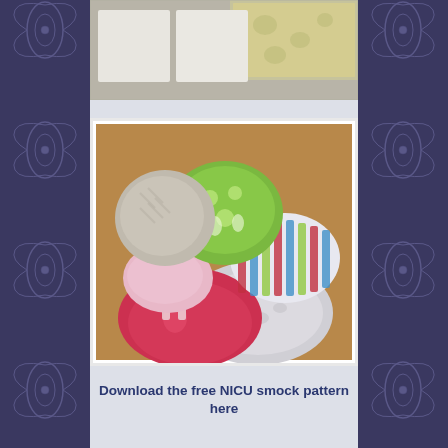[Figure (photo): Flat fabric pieces laid out on a surface, showing light-colored fabric panels arranged for cutting, with a green patterned fabric visible in the background.]
[Figure (photo): Multiple colorful NICU smock garments laid out on a wooden floor, showing various fabric patterns including green with deer, red/pink Scandinavian print, gray with animal print, and multicolor striped patterns.]
Download the free NICU smock pattern here